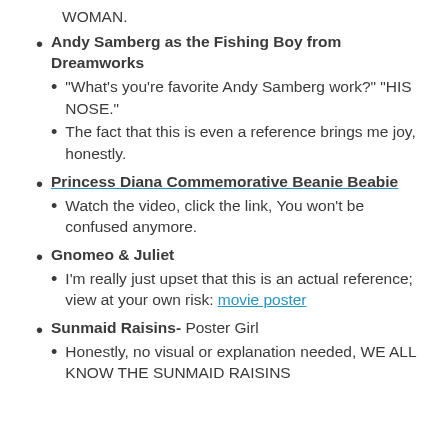WOMAN.
Andy Samberg as the Fishing Boy from Dreamworks
“What’s you’re favorite Andy Samberg work?” “HIS NOSE.”
The fact that this is even a reference brings me joy, honestly.
Princess Diana Commemorative Beanie Beabie
Watch the video, click the link, You won’t be confused anymore.
Gnomeo & Juliet
I’m really just upset that this is an actual reference; view at your own risk: movie poster
Sunmaid Raisins- Poster Girl
Honestly, no visual or explanation needed, WE ALL KNOW THE SUNMAID RAISINS